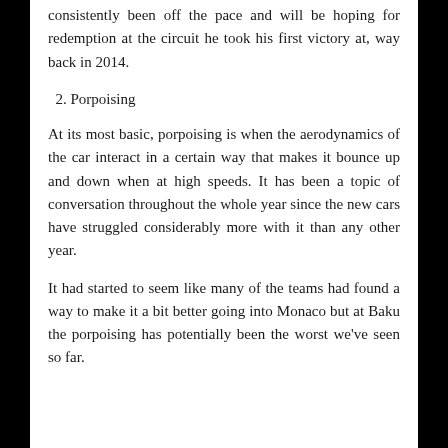consistently been off the pace and will be hoping for redemption at the circuit he took his first victory at, way back in 2014.
2. Porpoising
At its most basic, porpoising is when the aerodynamics of the car interact in a certain way that makes it bounce up and down when at high speeds. It has been a topic of conversation throughout the whole year since the new cars have struggled considerably more with it than any other year.
It had started to seem like many of the teams had found a way to make it a bit better going into Monaco but at Baku the porpoising has potentially been the worst we've seen so far.